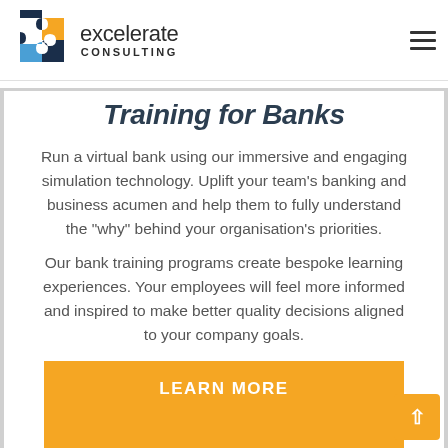excelerate CONSULTING
Training for Banks
Run a virtual bank using our immersive and engaging simulation technology. Uplift your team's banking and business acumen and help them to fully understand the “why” behind your organisation’s priorities.
Our bank training programs create bespoke learning experiences. Your employees will feel more informed and inspired to make better quality decisions aligned to your company goals.
LEARN MORE